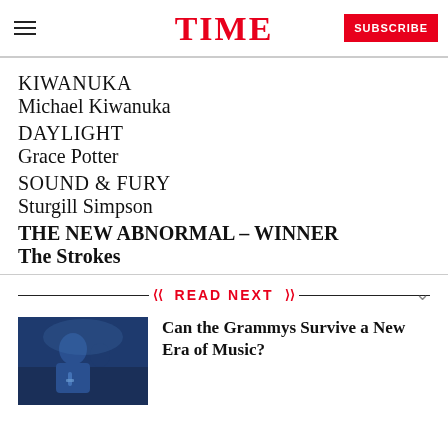TIME  SUBSCRIBE
KIWANUKA
Michael Kiwanuka
DAYLIGHT
Grace Potter
SOUND & FURY
Sturgill Simpson
THE NEW ABNORMAL – WINNER
The Strokes
READ NEXT
Can the Grammys Survive a New Era of Music?